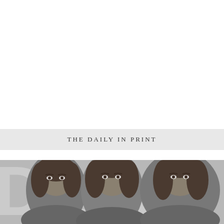THE DAILY IN PRINT
[Figure (photo): Black and white photograph of three young women with dark hair posing together in front of a large backdrop with partial text visible reading 'Daily'. The women are looking at the camera.]